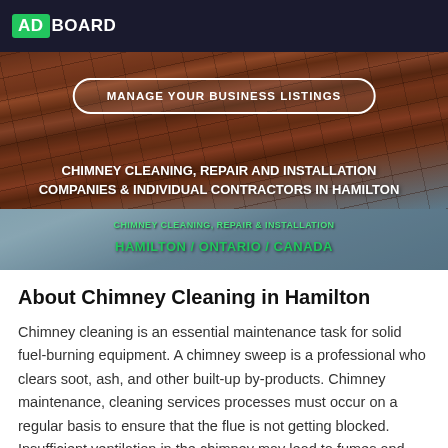ADBOARD
[Figure (photo): Hero banner with roof tiles (terracotta) and blue sky background, featuring a 'MANAGE YOUR BUSINESS LISTINGS' button, page title 'CHIMNEY CLEANING, REPAIR AND INSTALLATION COMPANIES & INDIVIDUAL CONTRACTORS IN HAMILTON', and breadcrumb 'CHIMNEY CLEANING, REPAIR & INSTALLATION / HAMILTON / ONTARIO / CANADA']
About Chimney Cleaning in Hamilton
Chimney cleaning is an essential maintenance task for solid fuel-burning equipment. A chimney sweep is a professional who clears soot, ash, and other built-up by-products. Chimney maintenance, cleaning services processes must occur on a regular basis to ensure that the flue is not getting blocked. Insufficient ventilation in the chimney may lead to fumes and smoke entering the household. Depending on the location and